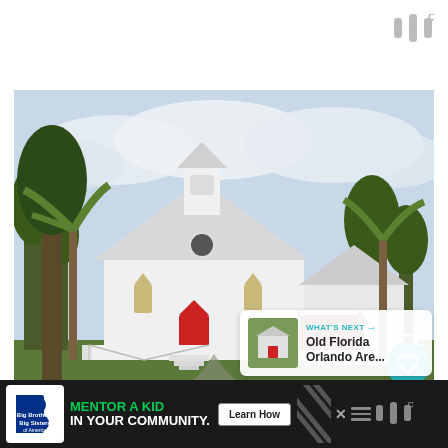[Figure (logo): Matterport logo (three vertical bars with degree symbol) in top right corner]
[Figure (photo): White wooden church building (St. Luke's Episcopal Church) with red door, bell tower, metal roof, surrounded by palm trees and green lawn in Florida]
[Figure (infographic): Teal heart/like button overlay on right side of photo]
14
[Figure (infographic): Share button (circle with share icon) on right side of photo]
[Figure (infographic): What's Next panel showing thumbnail and text 'Old Florida Orlando Are...']
WHAT'S NEXT → Old Florida Orlando Are...
[Figure (infographic): Bottom advertisement bar: Big Brothers Big Sisters logo with text MENTOR A KID IN YOUR COMMUNITY, Learn How button, diagonal pattern, hamburger menu, Matterport logo]